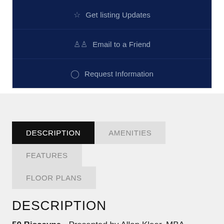Get listing Updates
Email to a Friend
Request Information
DESCRIPTION  AMENITIES  FEATURES  FLOOR PLANS
DESCRIPTION
50 Biscayne - Presented by Allan Kleer, MBA, PA,The Leader in Miami Luxury Condos. Developed by The